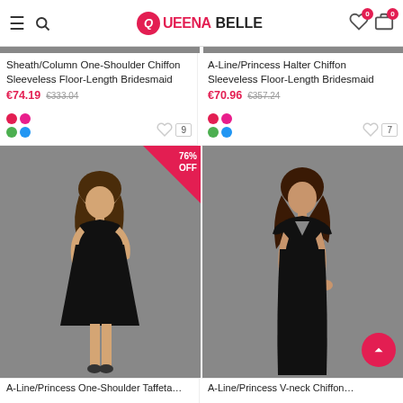Queena Belle — navigation header with menu, search, logo, wishlist and cart icons
[Figure (photo): Product listing for Sheath/Column One-Shoulder Chiffon Sleeveless Floor-Length Bridesmaid dress, priced at €74.19 (was €333.04), with color swatches and 9 wishlist saves]
[Figure (photo): Product listing for A-Line/Princess Halter Chiffon Sleeveless Floor-Length Bridesmaid dress, priced at €70.96 (was €357.24), with color swatches and 7 wishlist saves]
[Figure (photo): Photo of a woman wearing a short black one-shoulder bridesmaid dress with 76% OFF badge]
[Figure (photo): Photo of a woman wearing a long black v-neck cap-sleeve bridesmaid dress]
A-Line/Princess One-Shoulder Taffeta…
A-Line/Princess V-neck Chiffon…